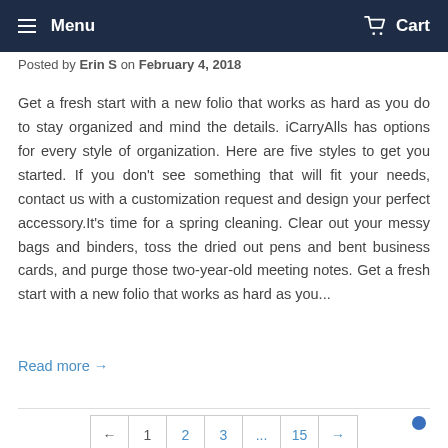Menu | Cart
Posted by Erin S on February 4, 2018
Get a fresh start with a new folio that works as hard as you do to stay organized and mind the details. iCarryAlls has options for every style of organization. Here are five styles to get you started. If you don't see something that will fit your needs, contact us with a customization request and design your perfect accessory.It's time for a spring cleaning. Clear out your messy bags and binders, toss the dried out pens and bent business cards, and purge those two-year-old meeting notes. Get a fresh start with a new folio that works as hard as you...
Read more →
← 1 2 3 ... 15 →